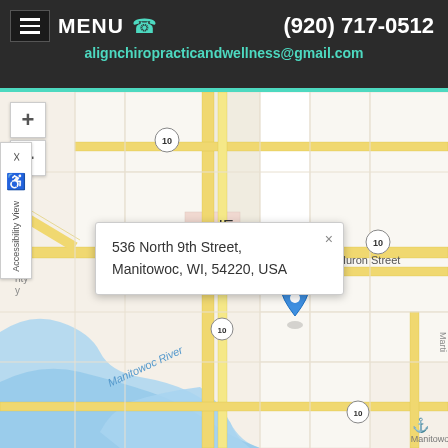MENU (920) 717-0512 alignchiropracticandwellness@gmail.com
[Figure (map): Google Maps view of Manitowoc, WI showing streets including McKinley School area, Huron Street, Manitowoc River, Union Park, and N 10th St with Route 10 markers. A blue location pin marks 536 North 9th Street.]
536 North 9th Street, Manitowoc, WI, 54220, USA